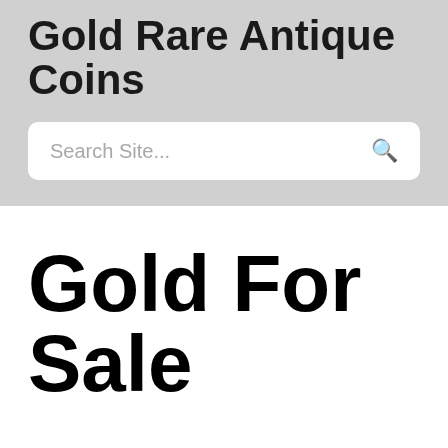Gold Rare Antique Coins
Search Site...
Gold For Sale